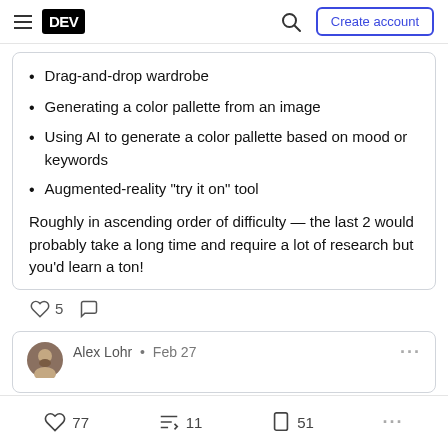DEV — Create account
Drag-and-drop wardrobe
Generating a color pallette from an image
Using AI to generate a color pallette based on mood or keywords
Augmented-reality "try it on" tool
Roughly in ascending order of difficulty — the last 2 would probably take a long time and require a lot of research but you'd learn a ton!
♡ 5  ○
Alex Lohr • Feb 27
♡ 77   ᚘ 11   □ 51   ...